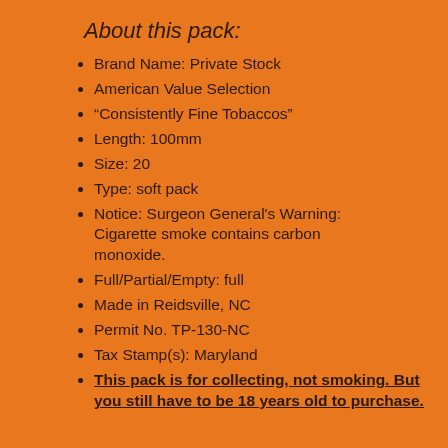About this pack:
Brand Name: Private Stock
American Value Selection
“Consistently Fine Tobaccos”
Length: 100mm
Size: 20
Type: soft pack
Notice: Surgeon General’s Warning: Cigarette smoke contains carbon monoxide.
Full/Partial/Empty: full
Made in Reidsville, NC
Permit No. TP-130-NC
Tax Stamp(s): Maryland
This pack is for collecting, not smoking. But you still have to be 18 years old to purchase.